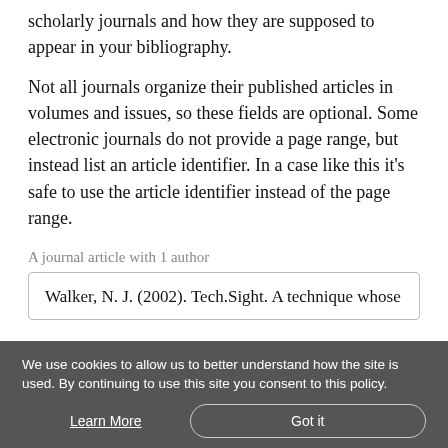scholarly journals and how they are supposed to appear in your bibliography.
Not all journals organize their published articles in volumes and issues, so these fields are optional. Some electronic journals do not provide a page range, but instead list an article identifier. In a case like this it's safe to use the article identifier instead of the page range.
A journal article with 1 author
Walker, N. J. (2002). Tech.Sight. A technique whose
We use cookies to allow us to better understand how the site is used. By continuing to use this site you consent to this policy.